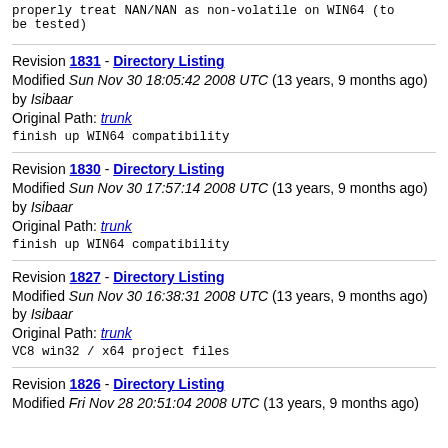properly treat NAN/NAN as non-volatile on WIN64 (to be tested)
Revision 1831 - Directory Listing
Modified Sun Nov 30 18:05:42 2008 UTC (13 years, 9 months ago) by Isibaar
Original Path: trunk
finish up WIN64 compatibility
Revision 1830 - Directory Listing
Modified Sun Nov 30 17:57:14 2008 UTC (13 years, 9 months ago) by Isibaar
Original Path: trunk
finish up WIN64 compatibility
Revision 1827 - Directory Listing
Modified Sun Nov 30 16:38:31 2008 UTC (13 years, 9 months ago) by Isibaar
Original Path: trunk
VC8 win32 / x64 project files
Revision 1826 - Directory Listing
Modified Fri Nov 28 20:51:04 2008 UTC (13 years, 9 months ago)